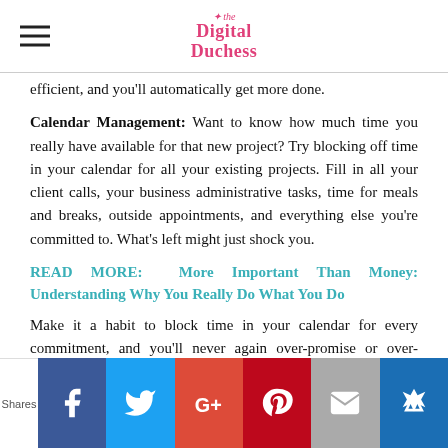Digital Duchess
efficient, and you'll automatically get more done.
Calendar Management: Want to know how much time you really have available for that new project? Try blocking off time in your calendar for all your existing projects. Fill in all your client calls, your business administrative tasks, time for meals and breaks, outside appointments, and everything else you're committed to. What's left might just shock you.
READ MORE: More Important Than Money: Understanding Why You Really Do What You Do
Make it a habit to block time in your calendar for every commitment, and you'll never again over-promise or over-commit.
Shares | Facebook | Twitter | Google+ | Pinterest | Email | Monarch